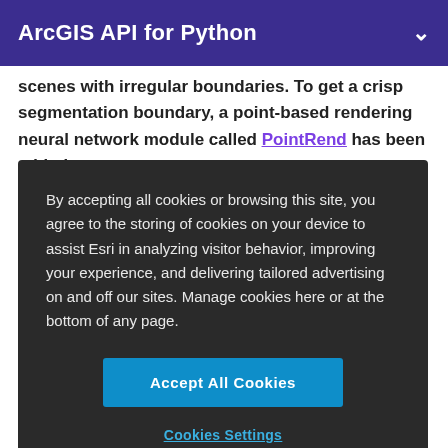ArcGIS API for Python
scenes with irregular boundaries. To get a crisp segmentation boundary, a point-based rendering neural network module called PointRend has been added as
By accepting all cookies or browsing this site, you agree to the storing of cookies on your device to assist Esri in analyzing visitor behavior, improving your experience, and delivering tailored advertising on and off our sites. Manage cookies here or at the bottom of any page.
Accept All Cookies
Cookies Settings
resolution output in an efficient way. [6]